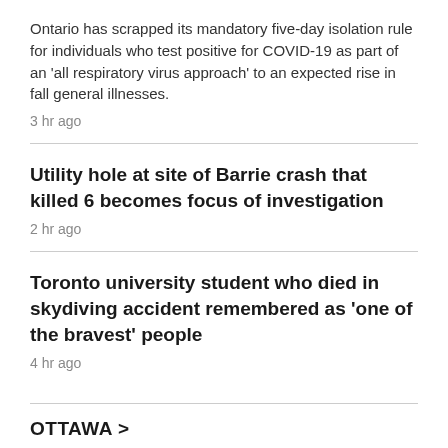Ontario has scrapped its mandatory five-day isolation rule for individuals who test positive for COVID-19 as part of an 'all respiratory virus approach' to an expected rise in fall general illnesses.
3 hr ago
Utility hole at site of Barrie crash that killed 6 becomes focus of investigation
2 hr ago
Toronto university student who died in skydiving accident remembered as 'one of the bravest' people
4 hr ago
OTTAWA >